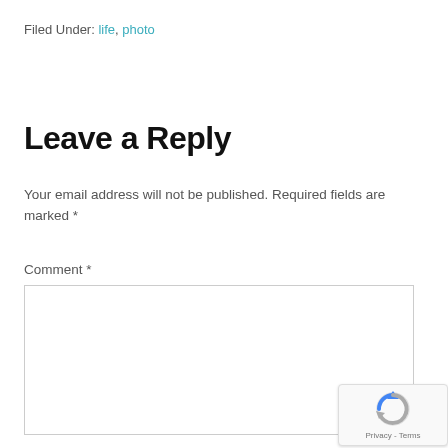Filed Under: life, photo
Leave a Reply
Your email address will not be published. Required fields are marked *
Comment *
[Figure (screenshot): reCAPTCHA badge with logo and Privacy - Terms links]